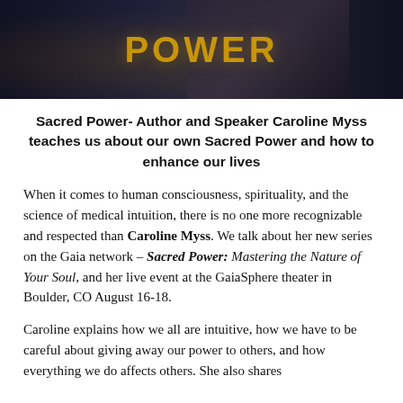[Figure (photo): Dark background image with gold text reading 'POWER' and a person visible on the right side, likely Caroline Myss]
Sacred Power- Author and Speaker Caroline Myss teaches us about our own Sacred Power and how to enhance our lives
When it comes to human consciousness, spirituality, and the science of medical intuition, there is no one more recognizable and respected than Caroline Myss. We talk about her new series on the Gaia network – Sacred Power: Mastering the Nature of Your Soul, and her live event at the GaiaSphere theater in Boulder, CO August 16-18.
Caroline explains how we all are intuitive, how we have to be careful about giving away our power to others, and how everything we do affects others. She also shares